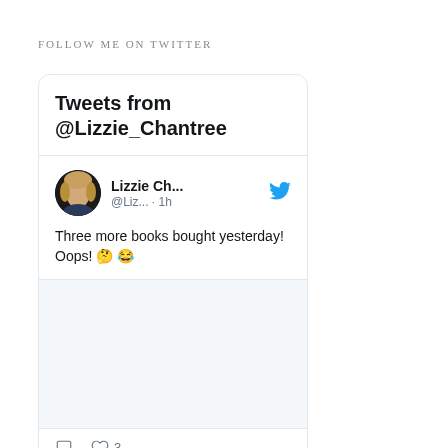FOLLOW ME ON TWITTER
[Figure (screenshot): Twitter widget showing tweets from @Lizzie_Chantree. Contains a tweet by Lizzie Ch... (@Liz... · 1h): 'Three more books bought yesterday! Oops! 🤔 😂'. Below the tweet is an embedded image placeholder, action icons (comment, heart with count 3), and the start of another tweet.]